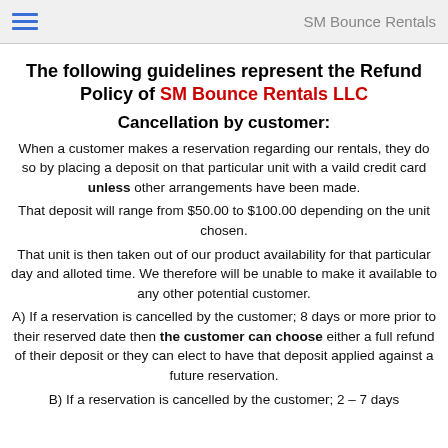SM Bounce Rentals
The following guidelines represent the Refund Policy of SM Bounce Rentals LLC
Cancellation by customer:
When a customer makes a reservation regarding our rentals, they do so by placing a deposit on that particular unit with a vaild credit card unless other arrangements have been made.
That deposit will range from $50.00 to $100.00 depending on the unit chosen.
That unit is then taken out of our product availability for that particular day and alloted time. We therefore will be unable to make it available to any other potential customer.
A) If a reservation is cancelled by the customer; 8 days or more prior to their reserved date then the customer can choose either a full refund of their deposit or they can elect to have that deposit applied against a future reservation.
B) If a reservation is cancelled by the customer; 2 - 7 days...